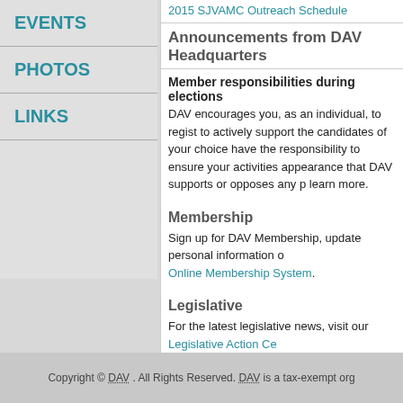EVENTS
PHOTOS
LINKS
2015 SJVAMC Outreach Schedule
Announcements from DAV Headquarters
Member responsibilities during elections
DAV encourages you, as an individual, to register to actively support the candidates of your choice. You have the responsibility to ensure your activities do not create the appearance that DAV supports or opposes any particular candidate. Click to learn more.
Membership
Sign up for DAV Membership, update personal information or manage your membership through our Online Membership System.
Legislative
For the latest legislative news, visit our Legislative Action Ce
Calendar
There are currently no upcoming events.
Copyright © DAV . All Rights Reserved. DAV is a tax-exempt org